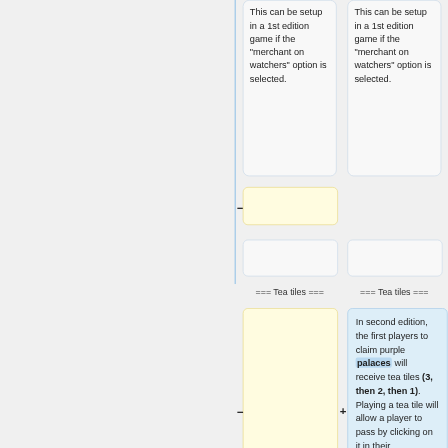This can be setup in a 1st edition game if the "merchant on watchers" option is selected.
This can be setup in a 1st edition game if the "merchant on watchers" option is selected.
=== Tea tiles ===
=== Tea tiles ===
In second edition, the first players to claim purple palaces will receive tea tiles (3, then 2, then 1). Playing a tea tile will allow a player to pass by clicking on it in their